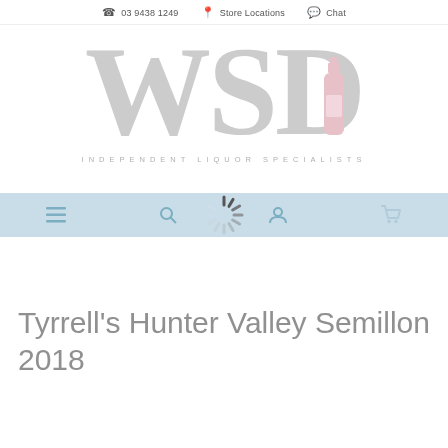☎ 03 9438 1249  📍 Store Locations  💬 Chat
[Figure (logo): WSD Independent Liquor Specialists logo. Large grey letters W, S, D with a pink wine bottle icon incorporated into the D. Tagline reads INDEPENDENT LIQUOR SPECIALISTS in spaced uppercase letters.]
[Figure (screenshot): Navigation bar with light blue background showing menu (hamburger), search, loading spinner, account, and cart icons. A loading spinner (radiating lines) is overlaid in the center.]
Tyrrell's Hunter Valley Semillon 2018